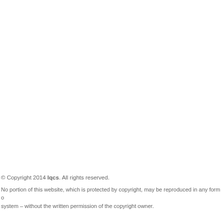© Copyright 2014 lqcs. All rights reserved.
No portion of this website, which is protected by copyright, may be reproduced in any form or system – without the written permission of the copyright owner.